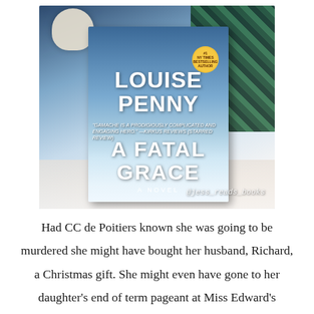[Figure (photo): Photo of the book 'A Fatal Grace' by Louise Penny, a novel, lying on a white wooden surface beside a decorative skull ornament and a dark green tartan scarf. The book cover shows a snowy winter scene with the author's name and title in large white text. A gold circular badge is visible on the cover. The Instagram handle @jess_reads_books is watermarked on the photo.]
Had CC de Poitiers known she was going to be murdered she might have bought her husband, Richard, a Christmas gift. She might even have gone to her daughter's end of term pageant at Miss Edward's School for Girls, or 'girths' as CC liked to